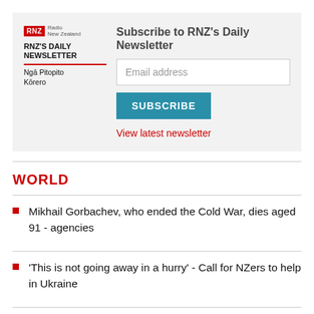[Figure (logo): RNZ Daily Newsletter subscription box with RNZ logo, email input field, Subscribe button, and View latest newsletter link]
WORLD
Mikhail Gorbachev, who ended the Cold War, dies aged 91 - agencies
'This is not going away in a hurry' - Call for NZers to help in Ukraine
EU sets sights on energy market reform as prices soar